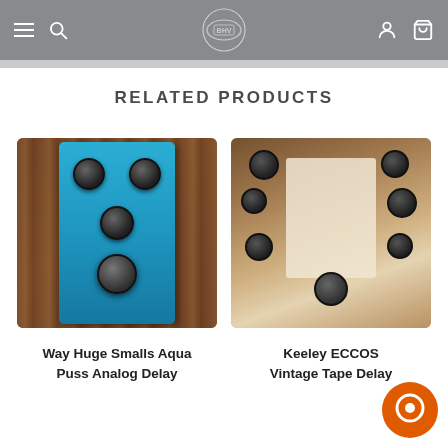Navigation header with menu, search, logo, user account, and cart icons
RELATED PRODUCTS
[Figure (photo): Blue guitar effects pedal (Way Huge Smalls Aqua Puss Analog Delay) with black knobs on a wooden background]
Way Huge Smalls Aqua Puss Analog Delay
[Figure (photo): Vintage-style tape delay guitar pedal (Keeley ECCOS Vintage Tape Delay) with multiple black knobs on a tan/cream and brown background]
Keeley ECCOS Vintage Tape Delay